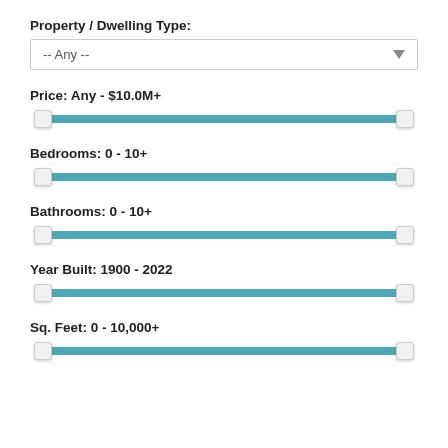Property / Dwelling Type:
[Figure (other): Dropdown selector showing '-- Any --' with a down arrow]
Price: Any - $10.0M+
[Figure (other): Range slider fully extended from Any to $10.0M+]
Bedrooms: 0 - 10+
[Figure (other): Range slider fully extended from 0 to 10+]
Bathrooms: 0 - 10+
[Figure (other): Range slider fully extended from 0 to 10+]
Year Built: 1900 - 2022
[Figure (other): Range slider fully extended from 1900 to 2022]
Sq. Feet: 0 - 10,000+
[Figure (other): Range slider fully extended from 0 to 10,000+]